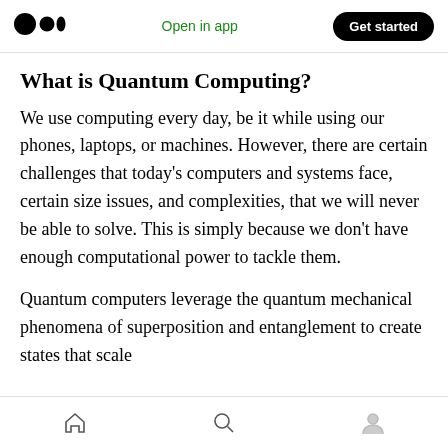Open in app | Get started
What is Quantum Computing?
We use computing every day, be it while using our phones, laptops, or machines. However, there are certain challenges that today's computers and systems face, certain size issues, and complexities, that we will never be able to solve. This is simply because we don't have enough computational power to tackle them.
Quantum computers leverage the quantum mechanical phenomena of superposition and entanglement to create states that scale
Home | Search | Profile